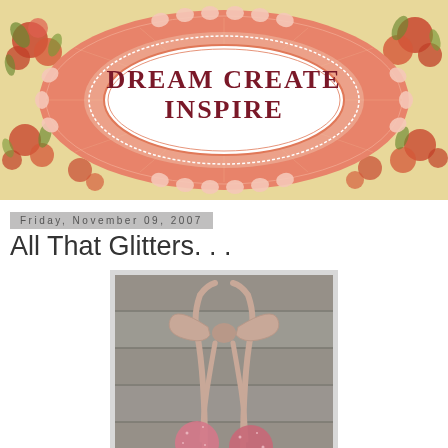[Figure (illustration): Blog header banner for 'Dream Create Inspire' blog. Features a salmon/coral colored decorative doily/medallion design with lace-like border and white oval center containing the text 'Dream Create Inspire' in dark red serif font. Background shows vintage floral fabric pattern with red roses on yellow/cream background.]
Friday, November 09, 2007
All That Glitters. . .
[Figure (photo): A photo showing glittery pink/rose colored ornaments or decorations hanging by a pink satin ribbon tied in a bow, against a grey painted wood plank background.]